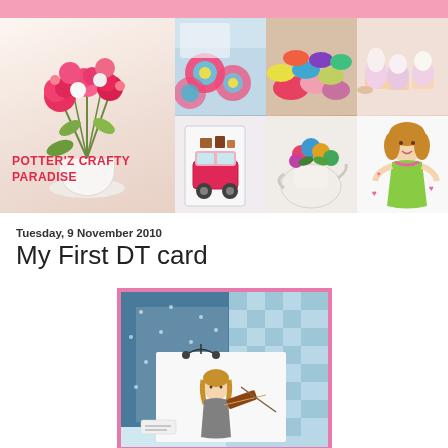[Figure (photo): Blog banner for Potterz Crafty Paradise showing a flower arrangement on the left with the blog title text, and a grid of 6 craft photos on the right: crochet blanket, yarn, cupcakes, VW bus card, teapot flower arrangement, and a doll illustration]
Tuesday, 9 November 2010
My First DT card
[Figure (photo): Handmade greeting card with pink border, blue dotted and blue gingham patterned paper, featuring a stamped and colored image of a girl playing violin]